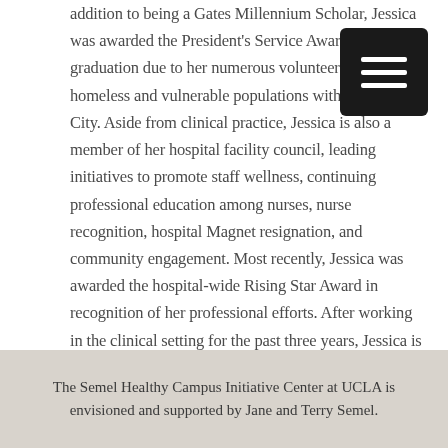addition to being a Gates Millennium Scholar, Jessica was awarded the President's Service Award upon graduation due to her numerous volunteer efforts with homeless and vulnerable populations within New York City. Aside from clinical practice, Jessica is also a member of her hospital facility council, leading initiatives to promote staff wellness, continuing professional education among nurses, nurse recognition, hospital Magnet resignation, and community engagement. Most recently, Jessica was awarded the hospital-wide Rising Star Award in recognition of her professional efforts. After working in the clinical setting for the past three years, Jessica is passionate about relieving health inequities and expanding preventative healthcare to all communities regardless of socioeconomic barriers.
The Semel Healthy Campus Initiative Center at UCLA is envisioned and supported by Jane and Terry Semel.